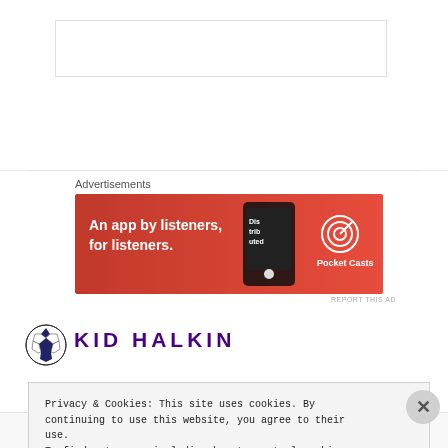[Figure (other): White space top area, partial content area of a webpage]
Advertisements
[Figure (other): Pocket Casts advertisement banner: red background, text 'An app by listeners, for listeners.' with Pocket Casts logo and phone image]
REPORT THIS AD
[Figure (logo): Soccer ball pixel art logo for KID HALKIN blog]
KID HALKIN
Privacy & Cookies: This site uses cookies. By continuing to use this website, you agree to their use.
To find out more, including how to control cookies, see here: Cookie Policy
Close and accept
Post on the go.
REPORT THIS AD